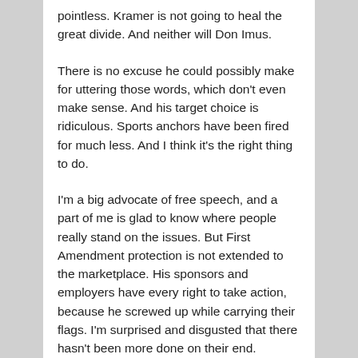pointless. Kramer is not going to heal the great divide. And neither will Don Imus.
There is no excuse he could possibly make for uttering those words, which don't even make sense. And his target choice is ridiculous. Sports anchors have been fired for much less. And I think it's the right thing to do.
I'm a big advocate of free speech, and a part of me is glad to know where people really stand on the issues. But First Amendment protection is not extended to the marketplace. His sponsors and employers have every right to take action, because he screwed up while carrying their flags. I'm surprised and disgusted that there hasn't been more done on their end.
If you, as a corporate citizen of this country, allow an employee to put this hatred out into the world with little or no consequence, then you are